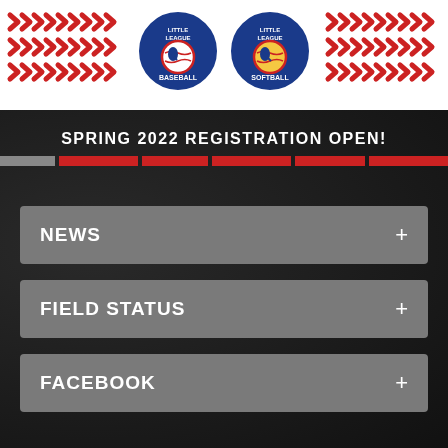[Figure (logo): Header banner with Little League Baseball and Little League Softball circular logos centered, flanked by red baseball lace decorative SVG patterns on white background]
SPRING 2022 REGISTRATION OPEN!
NEWS +
FIELD STATUS +
FACEBOOK +